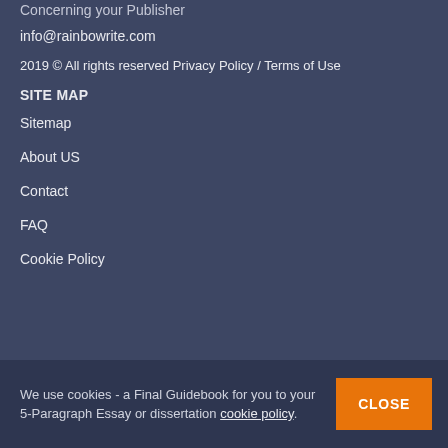Concerning your Publisher
info@rainbowrite.com
2019 © All rights reserved Privacy Policy / Terms of Use
SITE MAP
Sitemap
About US
Contact
FAQ
Cookie Policy
We use cookies - a Final Guidebook for you to your 5-Paragraph Essay or dissertation cookie policy.